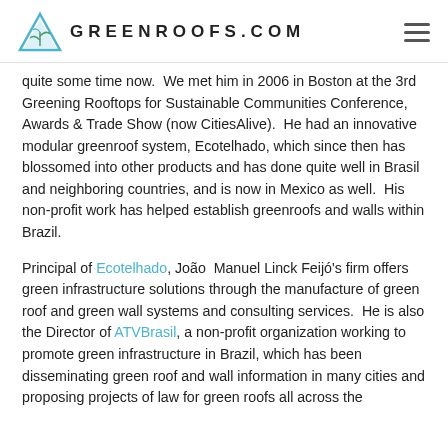GREENROOFS.COM
quite some time now.  We met him in 2006 in Boston at the 3rd Greening Rooftops for Sustainable Communities Conference, Awards & Trade Show (now CitiesAlive).  He had an innovative modular greenroof system, Ecotelhado, which since then has blossomed into other products and has done quite well in Brasil and neighboring countries, and is now in Mexico as well.  His non-profit work has helped establish greenroofs and walls within Brazil.
Principal of Ecotelhado, João  Manuel Linck Feijó's firm offers green infrastructure solutions through the manufacture of green roof and green wall systems and consulting services.  He is also the Director of ATVBrasil, a non-profit organization working to promote green infrastructure in Brazil, which has been disseminating green roof and wall information in many cities and proposing projects of law for green roofs all across the